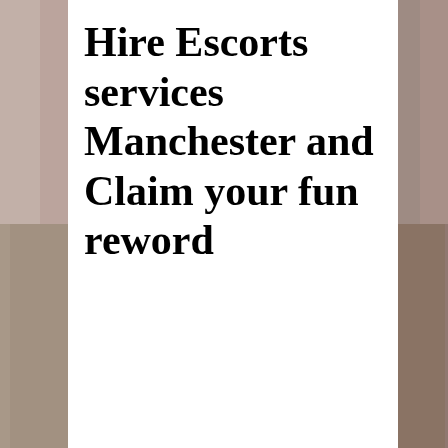[Figure (photo): Background photo of people, visible on left and right sides behind a white card overlay]
Hire Escorts services Manchester and Claim your fun reword